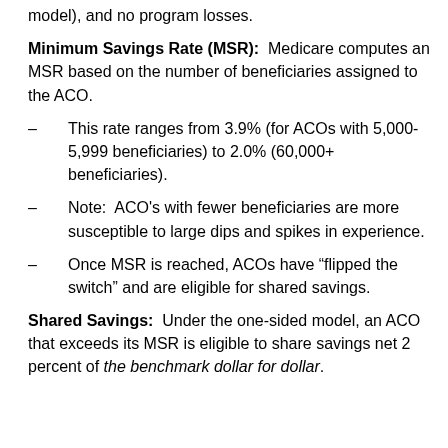model), and no program losses.
Minimum Savings Rate (MSR): Medicare computes an MSR based on the number of beneficiaries assigned to the ACO.
This rate ranges from 3.9% (for ACOs with 5,000-5,999 beneficiaries) to 2.0% (60,000+ beneficiaries).
Note: ACO's with fewer beneficiaries are more susceptible to large dips and spikes in experience.
Once MSR is reached, ACOs have “flipped the switch” and are eligible for shared savings.
Shared Savings: Under the one-sided model, an ACO that exceeds its MSR is eligible to share savings net 2 percent of the benchmark dollar for dollar.